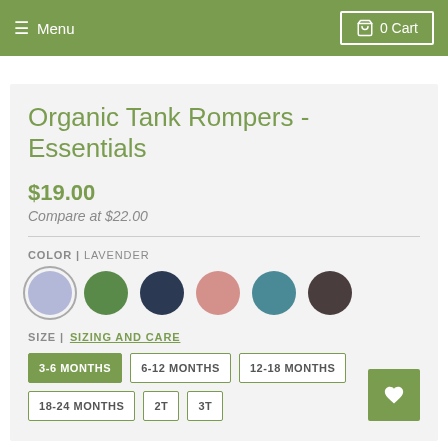Menu | 0 Cart
Organic Tank Rompers - Essentials
$19.00
Compare at $22.00
COLOR | LAVENDER
[Figure (other): Six color swatches in a row: lavender (selected, with ring), green, navy, pink, teal, dark brown/charcoal]
SIZE | SIZING AND CARE
3-6 MONTHS  6-12 MONTHS  12-18 MONTHS  18-24 MONTHS  2T  3T